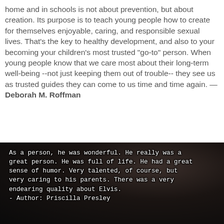home and in schools is not about prevention, but about creation. Its purpose is to teach young people how to create for themselves enjoyable, caring, and responsible sexual lives. That's the key to healthy development, and also to your becoming your children's most trusted "go-to" person. When young people know that we care most about their long-term well-being --not just keeping them out of trouble-- they see us as trusted guides they can come to us time and time again. — Deborah M. Roffman
[Figure (photo): Dark background image with overlaid white text quote: 'As a person, he was wonderful. He really was a great person. He was full of life. He had a great sense of humor. Very talented, of course, but very caring to his parents. There was a very endearing quality about Elvis. - Author: Priscilla Presley']